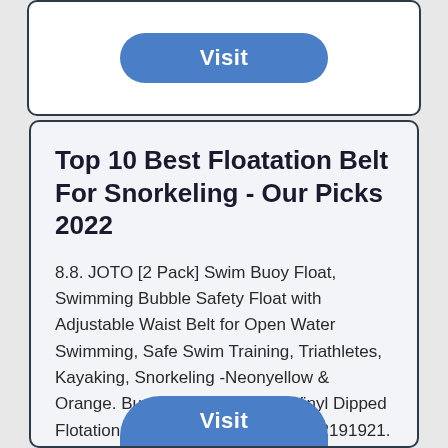[Figure (other): White card with a blue 'Visit' button (pill-shaped) at the top of the page]
Top 10 Best Floatation Belt For Snorkeling - Our Picks 2022
8.8. JOTO [2 Pack] Swim Buoy Float, Swimming Bubble Safety Float with Adjustable Waist Belt for Open Water Swimming, Safe Swim Training, Triathletes, Kayaking, Snorkeling -Neonyellow & Orange. Buy Now. 8.5. O'Brien Vinyl Dipped Flotation Swim Belt, Green, Large, 2191921.
[Figure (other): Blue 'Visit' button (pill-shaped) partially visible at the bottom of the page]